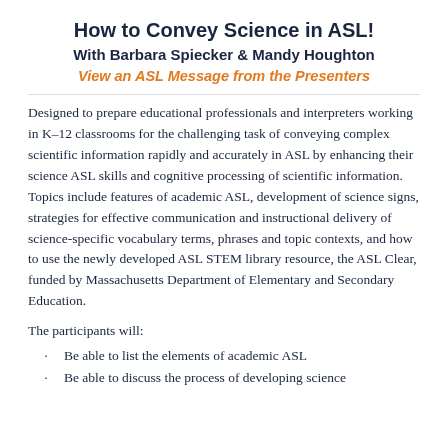How to Convey Science in ASL!
With Barbara Spiecker & Mandy Houghton
View an ASL Message from the Presenters
Designed to prepare educational professionals and interpreters working in K–12 classrooms for the challenging task of conveying complex scientific information rapidly and accurately in ASL by enhancing their science ASL skills and cognitive processing of scientific information. Topics include features of academic ASL, development of science signs, strategies for effective communication and instructional delivery of science-specific vocabulary terms, phrases and topic contexts, and how to use the newly developed ASL STEM library resource, the ASL Clear, funded by Massachusetts Department of Elementary and Secondary Education.
The participants will:
Be able to list the elements of academic ASL
Be able to discuss the process of developing science...